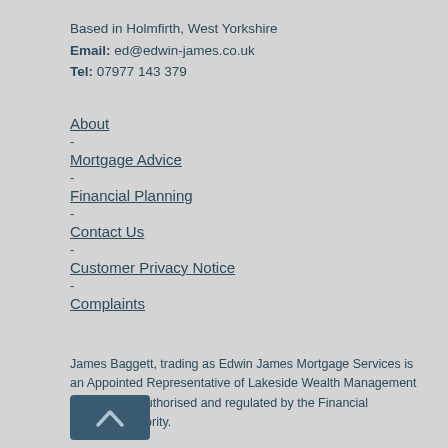Based in Holmfirth, West Yorkshire
Email: ed@edwin-james.co.uk
Tel: 07977 143 379
About
-
Mortgage Advice
-
Financial Planning
-
Contact Us
-
Customer Privacy Notice
-
Complaints
James Baggett, trading as Edwin James Mortgage Services is an Appointed Representative of Lakeside Wealth Management Ltd which is authorised and regulated by the Financial Conduct Authority.